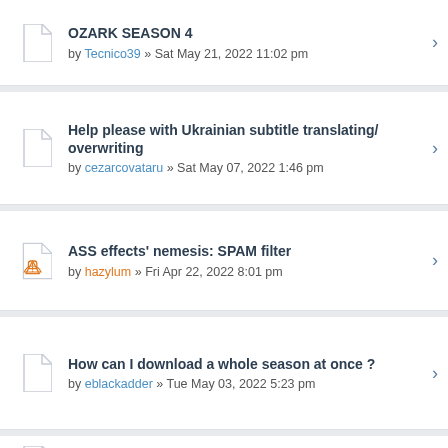OZARK SEASON 4 by Tecnico39 » Sat May 21, 2022 11:02 pm
Help please with Ukrainian subtitle translating/ overwriting by cezarcovataru » Sat May 07, 2022 1:46 pm
ASS effects' nemesis: SPAM filter by hazylum » Fri Apr 22, 2022 8:01 pm
How can I download a whole season at once ? by eblackadder » Tue May 03, 2022 5:23 pm
Reporting an abusive manager - explosiveskull